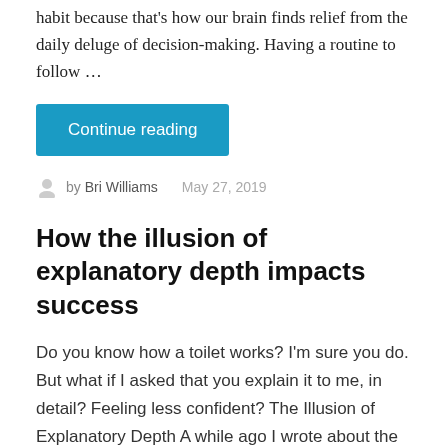habit because that's how our brain finds relief from the daily deluge of decision-making. Having a routine to follow …
Continue reading
by Bri Williams   May 27, 2019
How the illusion of explanatory depth impacts success
Do you know how a toilet works? I'm sure you do. But what if I asked that you explain it to me, in detail? Feeling less confident? The Illusion of Explanatory Depth A while ago I wrote about the Simplification Paradox. The paradox is people don't value something if it is simple, but yet simplicity …